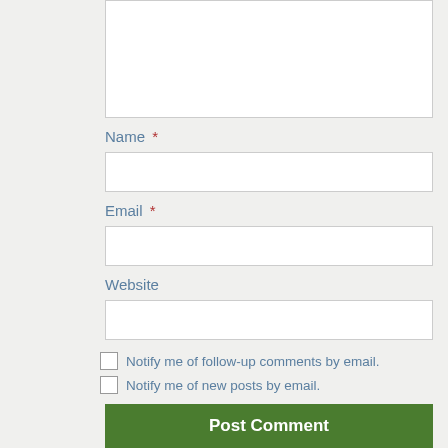[Figure (screenshot): Textarea input box (comment field), partially visible at top of page]
Name *
[Figure (screenshot): Text input field for Name]
Email *
[Figure (screenshot): Text input field for Email]
Website
[Figure (screenshot): Text input field for Website]
Notify me of follow-up comments by email.
Notify me of new posts by email.
Post Comment